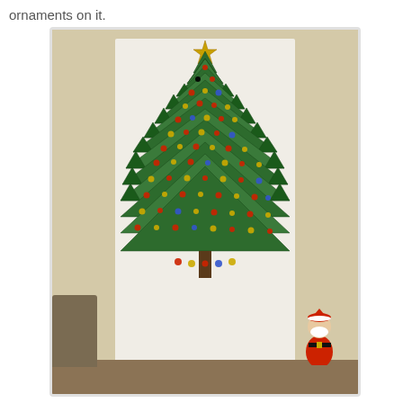ornaments on it.
[Figure (photo): A large fabric wall-hanging Christmas tree decorated with numerous Christmas ornaments, hanging on a white wall. The tree is made of green triangular fabric patches arranged in a Christmas tree shape with a gold star on top. Various ornaments, figurines, and decorations are placed on the triangular pockets. A Santa Claus figurine sits at the bottom right of the tree. A brown couch or chair is partially visible at the bottom left.]